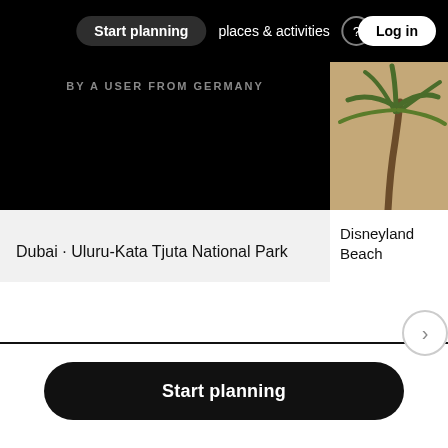Start planning   places & activities   Log in
[Figure (screenshot): Dark card showing user travel route, with text 'BY A USER FROM GERMANY' at top]
Dubai · Uluru-Kata Tjuta National Park
[Figure (photo): Partial photo showing palm tree, card for Disneyland Beach]
Disneyland Beach
Start planning